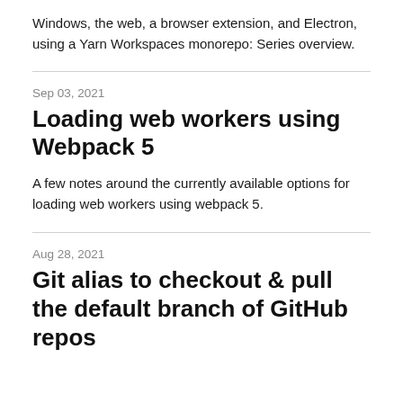Windows, the web, a browser extension, and Electron, using a Yarn Workspaces monorepo: Series overview.
Sep 03, 2021
Loading web workers using Webpack 5
A few notes around the currently available options for loading web workers using webpack 5.
Aug 28, 2021
Git alias to checkout & pull the default branch of GitHub repos